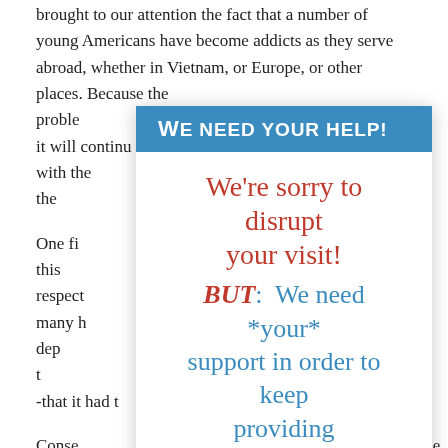brought to our attention the fact that a number of young Americans have become addicts as they serve abroad, whether in Vietnam, or Europe, or other places. Because the problem it will continue deals with the deal with the
[Figure (infographic): Overlay popup with blue header 'WE NEED YOUR HELP!' and white body containing a fundraising appeal message in red and blue text for The American Presidency Project]
One fi in this respect respons o many h ties to the dep -I also found t Govern n--that it had t
Conse ouse, directly reporting to me, so that we have not only the responsibility but the authority to see that we wage this offensive effectively and in a coordinated way.